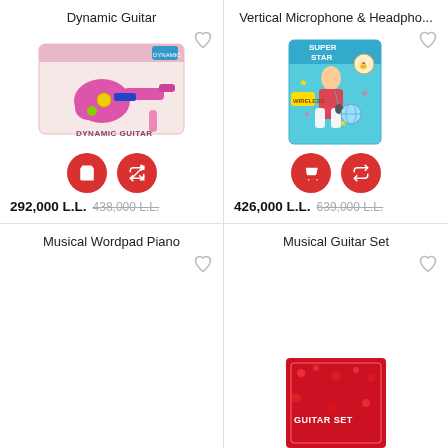Dynamic Guitar
[Figure (photo): Pink toy guitar in product box labeled DYNAMIC GUITAR with cart and shuffle action buttons]
292,000 L.L.  438,000 L.L.
Vertical Microphone & Headpho...
[Figure (photo): Super Star microphone and headphones set in product box with child photo, with cart and shuffle action buttons]
426,000 L.L.  639,000 L.L.
Musical Wordpad Piano
[Figure (photo): Musical guitar set product partially visible at bottom]
Musical Guitar Set